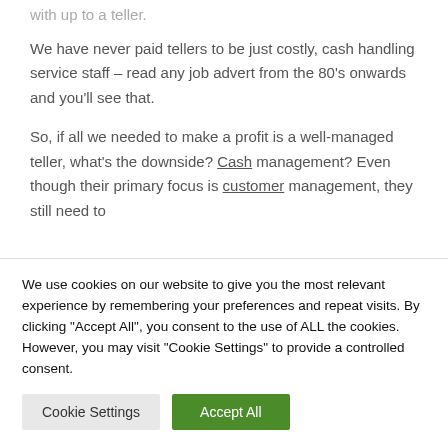with up to a teller.
We have never paid tellers to be just costly, cash handling service staff – read any job advert from the 80's onwards and you'll see that.
So, if all we needed to make a profit is a well-managed teller, what's the downside? Cash management? Even though their primary focus is customer management, they still need to
We use cookies on our website to give you the most relevant experience by remembering your preferences and repeat visits. By clicking "Accept All", you consent to the use of ALL the cookies. However, you may visit "Cookie Settings" to provide a controlled consent.
Cookie Settings
Accept All